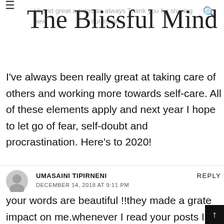The Blissful Mind
Hi and great articles as always Thank you for sharing new with beautiful insight.
I've always been really great at taking care of others and working more towards self-care. All of these elements apply and next year I hope to let go of fear, self-doubt and procrastination. Here's to 2020!
UMASAINI TIPIRNENI
DECEMBER 14, 2018 AT 9:11 PM
REPLY
your words are beautiful !!they made a grate impact on me.whenever I read your posts I feel relief , great job please continue doing it! every word from you is like flawless seriously at the movement I'm search for words to express to say how amazing your posts are.